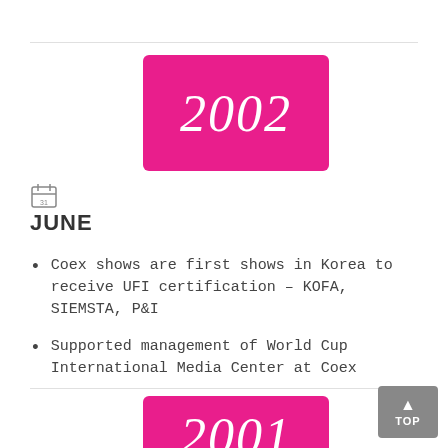2002
JUNE
Coex shows are first shows in Korea to receive UFI certification – KOFA, SIEMSTA, P&I
Supported management of World Cup International Media Center at Coex
2001